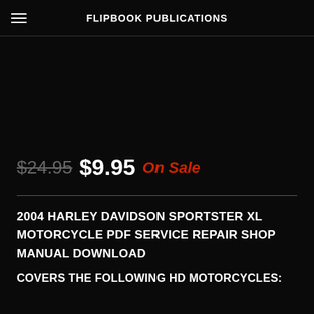FLIPBOOK PUBLICATIONS
$24.95 $9.95 On Sale
2004 HARLEY DAVIDSON SPORTSTER XL MOTORCYCLE PDF SERVICE REPAIR SHOP MANUAL DOWNLOAD
COVERS THE FOLLOWING HD MOTORCYCLES: